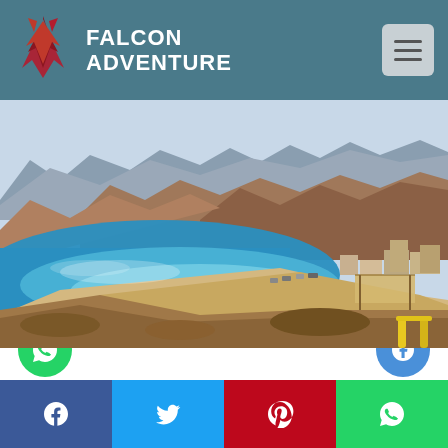FALCON ADVENTURE
[Figure (photo): Aerial coastal view of Blue Hole area near Dahab/Sharm El Sheikh, Egypt — turquoise sea, sandy beach, rocky mountains, and a small settlement visible on the right]
JEEP SAFARI TO THE BLUE HOLE
Nabq Bay Sharm El Shiekh
[Figure (infographic): Social media share bar with Facebook, Twitter, Pinterest, and WhatsApp buttons]